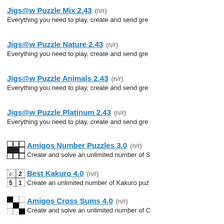Jigs@w Puzzle Mix 2.43 (n/r) Everything you need to play, create and send gre
Jigs@w Puzzle Nature 2.43 (n/r) Everything you need to play, create and send gre
Jigs@w Puzzle Animals 2.43 (n/r) Everything you need to play, create and send gre
Jigs@w Puzzle Platinum 2.43 (n/r) Everything you need to play, create and send gre
Amigos Number Puzzles 3.0 (n/r) Create and solve an unlimited number of S
Best Kakuro 4.0 (n/r) Create an unlimited number of Kakuro puz
Amigos Cross Sums 4.0 (n/r) Create and solve an unlimited number of C